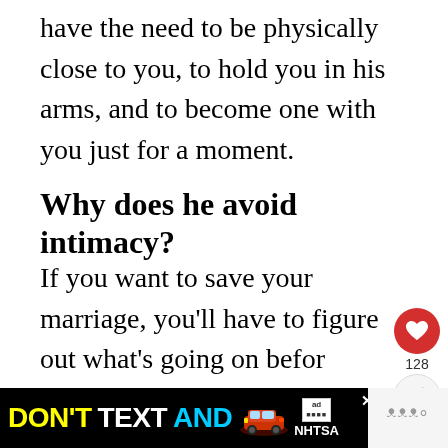have the need to be physically close to you, to hold you in his arms, and to become one with you just for a moment.
Why does he avoid intimacy?
If you want to save your marriage, you'll have to figure out what's going on before actually doing something about it. You'll have to get to the bottom of this guy's reasons so you two can work it together.
[Figure (other): Social interaction buttons: heart/like button (red circle with heart icon), like count showing 128, share button]
[Figure (other): What's Next promotional box with red header text 'WHAT'S NEXT →' and article preview '18 Signs Your Wife Wants ...' with thumbnail image]
[Figure (other): Advertisement banner: DON'T TEXT AND [car emoji] with NHTSA logo on black background]